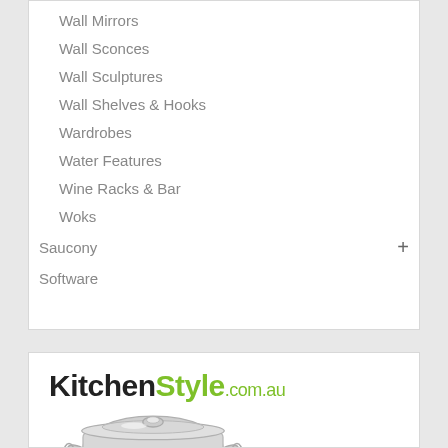Wall Mirrors
Wall Sconces
Wall Sculptures
Wall Shelves & Hooks
Wardrobes
Water Features
Wine Racks & Bar
Woks
Saucony
Software
[Figure (logo): KitchenStyle.com.au logo with a stainless steel pot image below]